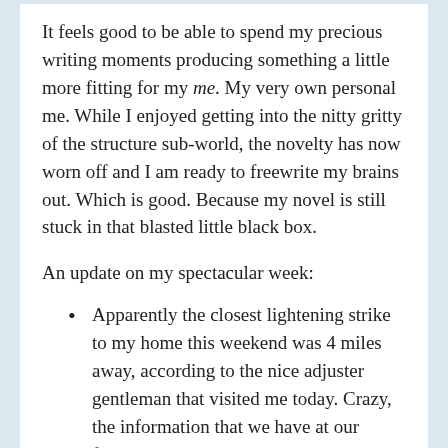It feels good to be able to spend my precious writing moments producing something a little more fitting for my me. My very own personal me. While I enjoyed getting into the nitty gritty of the structure sub-world, the novelty has now worn off and I am ready to freewrite my brains out. Which is good. Because my novel is still stuck in that blasted little black box.
An update on my spectacular week:
Apparently the closest lightening strike to my home this weekend was 4 miles away, according to the nice adjuster gentleman that visited me today. Crazy, the information that we have at our fingertips these days.
I'll be calling in an appliance technician tomorrow, who apparently possesses similar magical powers